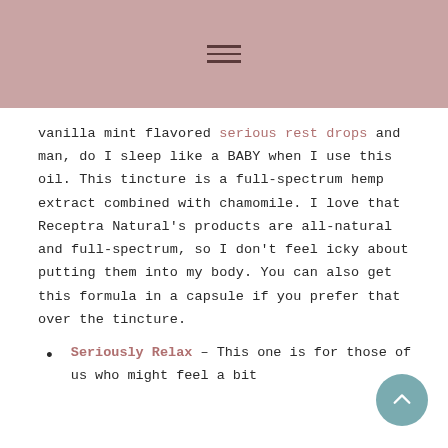≡
vanilla mint flavored serious rest drops and man, do I sleep like a BABY when I use this oil. This tincture is a full-spectrum hemp extract combined with chamomile. I love that Receptra Natural's products are all-natural and full-spectrum, so I don't feel icky about putting them into my body. You can also get this formula in a capsule if you prefer that over the tincture.
Seriously Relax – This one is for those of us who might feel a bit